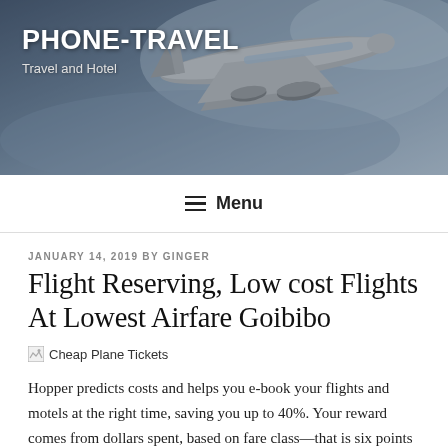[Figure (photo): Header banner with airplane flying against sky background, bluish-grey tones]
PHONE-TRAVEL
Travel and Hotel
≡ Menu
JANUARY 14, 2019 BY GINGER
Flight Reserving, Low cost Flights At Lowest Airfare Goibibo
[Figure (photo): Broken image placeholder labeled 'Cheap Plane Tickets']
Hopper predicts costs and helps you e-book your flights and motels at the right time, saving you up to 40%. Your reward comes from dollars spent, based on fare class—that is six points per dollar on "Wanna Get Away" tickets; 10 factors per greenback on "Anytime" tickets; and 12